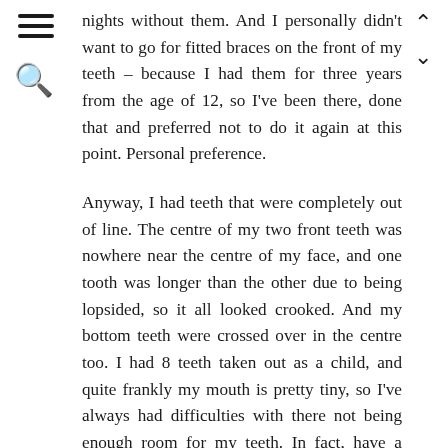[hamburger menu icon]
[search icon]
[navigation up/down arrows]
nights without them. And I personally didn't want to go for fitted braces on the front of my teeth – because I had them for three years from the age of 12, so I've been there, done that and preferred not to do it again at this point. Personal preference.
Anyway, I had teeth that were completely out of line. The centre of my two front teeth was nowhere near the centre of my face, and one tooth was longer than the other due to being lopsided, so it all looked crooked. And my bottom teeth were crossed over in the centre too. I had 8 teeth taken out as a child, and quite frankly my mouth is pretty tiny, so I've always had difficulties with there not being enough room for my teeth. In fact, have a peek at this video from a few years back and the way my teeth looked – and then watch this video or any recent video, and you'll see the change in my teeth, my jaw and my overall face shape. Huge difference. I couldn't be happier.